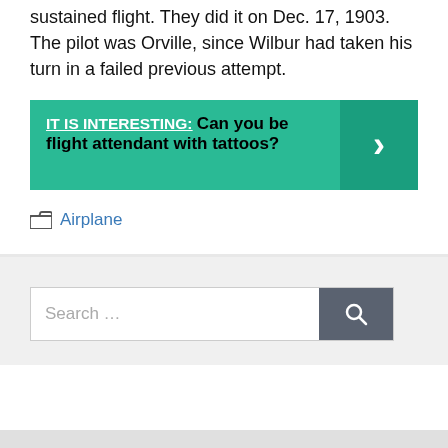sustained flight. They did it on Dec. 17, 1903. The pilot was Orville, since Wilbur had taken his turn in a failed previous attempt.
[Figure (infographic): Green banner with 'IT IS INTERESTING:' label and text 'Can you be flight attendant with tattoos?' with a right-arrow chevron on the right side in darker green.]
Airplane
Search ...